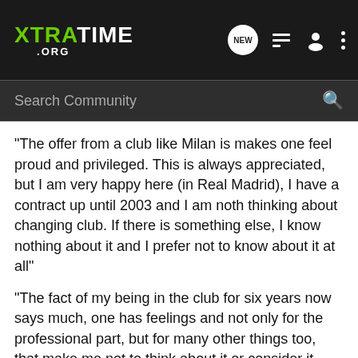XTRATIME .ORG
Search Community
"The offer from a club like Milan is makes one feel proud and privileged. This is always appreciated, but I am very happy here (in Real Madrid), I have a contract up until 2003 and I am noth thinking about changing club. If there is something else, I know nothing about it and I prefer not to know about it at all"
"The fact of my being in the club for six years now says much, one has feelings and not only for the professional part, but for many other things too, that make me not to think about it or consider it.
"I want to stay. If it was only up to me, I would certainly stay." The player said that he has not spoken with his agent Ricardo Luri since a day and a half ago. He again denied knowing anything about Milan and Madrid arriving to an agreement, by